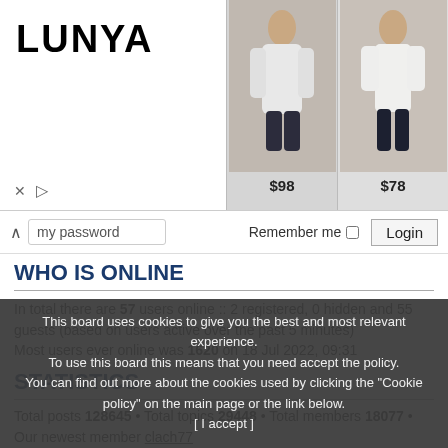[Figure (screenshot): Lunya advertisement banner with logo, dark background model photo, and two product images priced at $98 and $78]
my password   Remember me   Login
WHO IS ONLINE
In total there are 57 users online :: 2 registered, 0 hidden and 55 guests (based on users active over the past 5 minutes)
Most users ever online was 1620 on 18 Jul 2022, 09:31
STATISTICS
Total posts 128645 • Total topics 29448 • Total members 18077 • Our newest member clach77
TAG CLOUD
This board uses cookies to give you the best and most relevant experience. To use this board this means that you need accept the policy. You can find out more about the cookies used by clicking the "Cookie policy" on the main page or the link below.
[ I accept ]